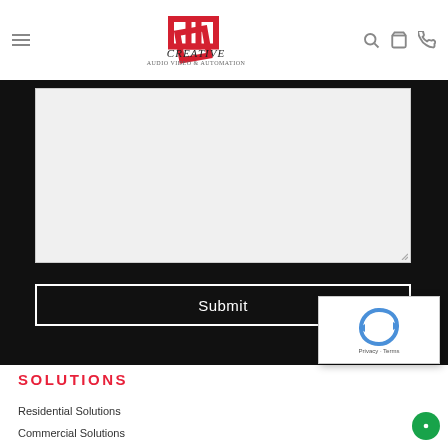Creative Audio Video & Automation — navigation header with hamburger menu, logo, search, cart, and phone icons
[Figure (screenshot): Large text input / textarea field with light gray background and resize handle in bottom-right corner, set against a dark/black background]
Submit
[Figure (other): reCAPTCHA widget showing recycling-arrow logo with Privacy and Terms links below]
SOLUTIONS
Residential Solutions
Commercial Solutions